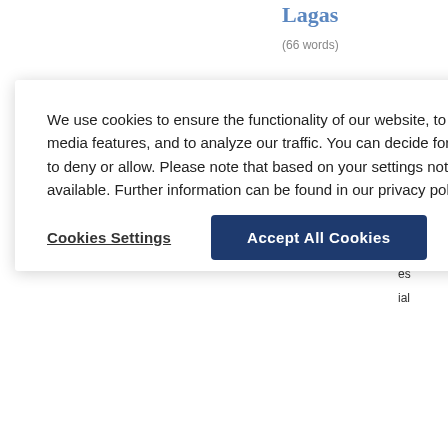Lagas
(66 words)
We use cookies to ensure the functionality of our website, to personalize content, to provide social media features, and to analyze our traffic. You can decide for yourself which categories you want to deny or allow. Please note that based on your settings not all functionalities of the site are available. Further information can be found in our privacy policy. Privacy Statement
Cookies Settings
Accept All Cookies
Source: Der Neue Pauly
Kaspioi
(39 words)
Author(s): Renger, Johannes
[English version] Indischer Bergsta